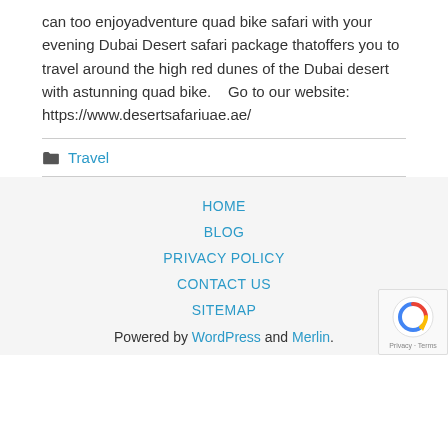can too enjoyadventure quad bike safari with your evening Dubai Desert safari package thatoffers you to travel around the high red dunes of the Dubai desert with astunning quad bike.    Go to our website: https://www.desertsafariuae.ae/
Travel
HOME | BLOG | PRIVACY POLICY | CONTACT US | SITEMAP | Powered by WordPress and Merlin.